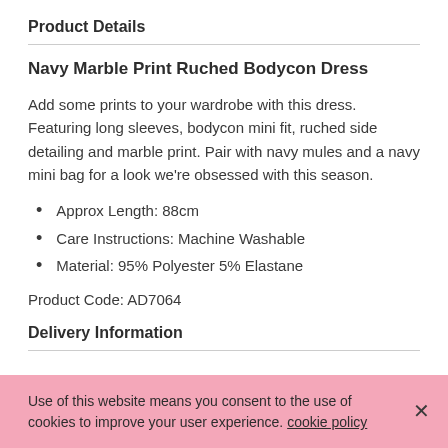Product Details
Navy Marble Print Ruched Bodycon Dress
Add some prints to your wardrobe with this dress. Featuring long sleeves, bodycon mini fit, ruched side detailing and marble print. Pair with navy mules and a navy mini bag for a look we're obsessed with this season.
Approx Length: 88cm
Care Instructions: Machine Washable
Material: 95% Polyester 5% Elastane
Product Code: AD7064
Delivery Information
Returns Policy
Use of this website means you consent to the use of cookies to improve your user experience. cookie policy